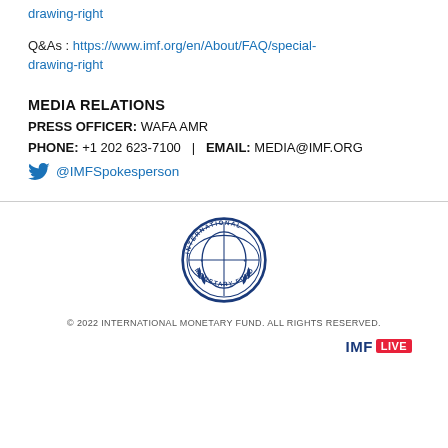drawing-right (link)
Q&As : https://www.imf.org/en/About/FAQ/special-drawing-right
MEDIA RELATIONS
PRESS OFFICER: WAFA AMR
PHONE: +1 202 623-7100  |  EMAIL: MEDIA@IMF.ORG
@IMFSpokesperson
[Figure (logo): International Monetary Fund circular blue seal/logo]
© 2022 INTERNATIONAL MONETARY FUND. ALL RIGHTS RESERVED.
[Figure (other): Row of social media icons: Twitter, Facebook, LinkedIn, Instagram, YouTube, Podcast, Flickr, Newsletter. IMF LIVE badge bottom right.]